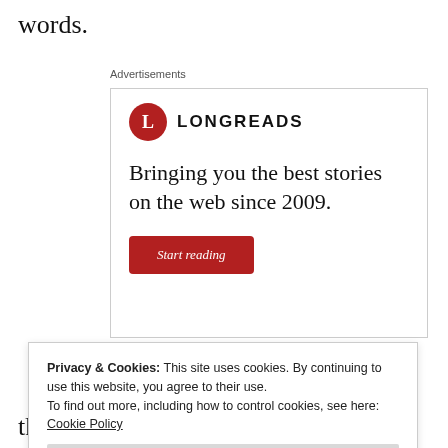words.
Advertisements
[Figure (other): Longreads advertisement banner with logo, tagline 'Bringing you the best stories on the web since 2009.' and a red 'Start reading' button]
Privacy & Cookies: This site uses cookies. By continuing to use this website, you agree to their use.
To find out more, including how to control cookies, see here: Cookie Policy
there. A benevolent spirit came down the tree